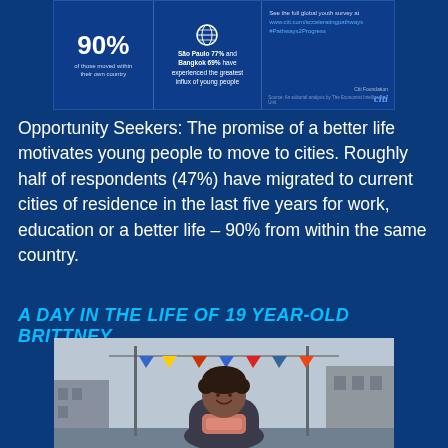[Figure (infographic): Infographic box with statistics: 90% moved within own country, São Paulo 77% and Bangkok 69% experienced greatest influx of young people, with link to www.citi.com/acceleratingpathways and #Pathways2Progress, Citi Foundation logo]
Opportunity Seekers: The promise of a better life motivates young people to move to cities. Roughly half of respondents (47%) have migrated to current cities of residence in the last five years for work, education or a better life – 90% from within the same country.
A DAY IN THE LIFE OF 19 YEAR-OLD BRITTNEY
[Figure (photo): Photo of a young smiling woman with short curly hair, wearing a pink/red scarf, standing on a street with colorful triangle bunting flags above, buildings on either side]